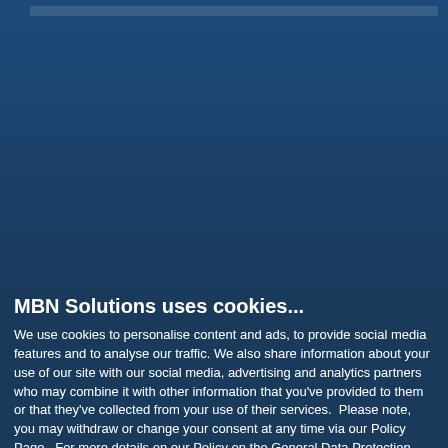[Figure (screenshot): Dark blue website background, partially obscured by cookie consent banner]
MBN Solutions uses cookies...
We use cookies to personalise content and ads, to provide social media features and to analyse our traffic. We also share information about your use of our site with our social media, advertising and analytics partners who may combine it with other information that you've provided to them or that they've collected from your use of their services.  Please note, you may withdraw or change your consent at any time via our Policy Page.  For more details on our Policy on the General Data Protection Regulation, click here.
Allow all cookies
Allow selection
Use necessary cookies only
Necessary
Preferences
Statistics
Marketing
Show details